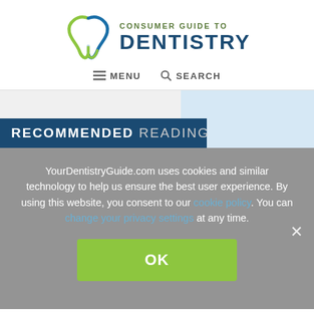[Figure (logo): Consumer Guide to Dentistry logo with tooth icon and brand name]
MENU  SEARCH
RECOMMENDED READING
YourDentistryGuide.com uses cookies and similar technology to help us ensure the best user experience. By using this website, you consent to our cookie policy. You can change your privacy settings at any time.
OK